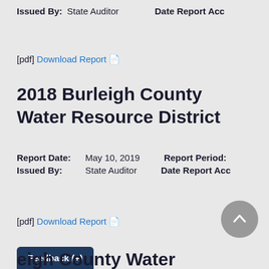Issued By: State Auditor   Date Report Acc
[pdf] Download Report
2018 Burleigh County Water Resource District
Report Date: May 10, 2019   Report Period:
Issued By: State Auditor   Date Report Acc
[pdf] Download Report
Feedback (+)
eigh County Water